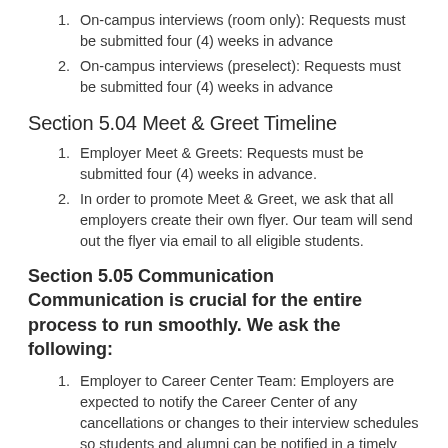On-campus interviews (room only): Requests must be submitted four (4) weeks in advance
On-campus interviews (preselect): Requests must be submitted four (4) weeks in advance
Section 5.04 Meet & Greet Timeline
Employer Meet & Greets: Requests must be submitted four (4) weeks in advance.
In order to promote Meet & Greet, we ask that all employers create their own flyer. Our team will send out the flyer via email to all eligible students.
Section 5.05 Communication
Communication is crucial for the entire process to run smoothly. We ask the following:
Employer to Career Center Team: Employers are expected to notify the Career Center of any cancellations or changes to their interview schedules so students and alumni can be notified in a timely